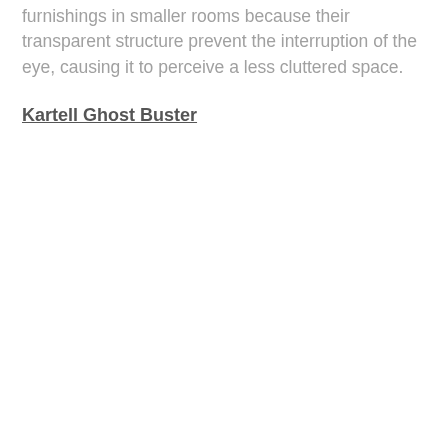furnishings in smaller rooms because their transparent structure prevent the interruption of the eye, causing it to perceive a less cluttered space.
Kartell Ghost Buster